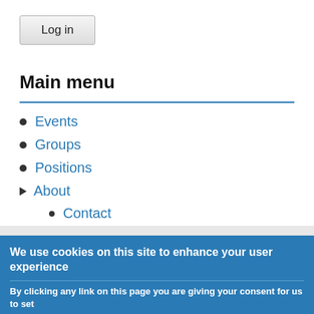Log in
Main menu
Events
Groups
Positions
About
Contact
FAQ
Privacy Statement
We use cookies on this site to enhance your user experience
By clicking any link on this page you are giving your consent for us to set